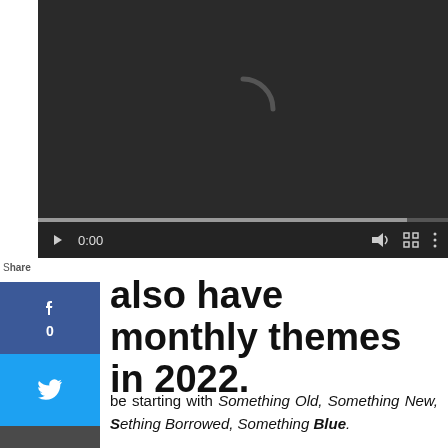[Figure (screenshot): Video player with dark background showing a loading spinner (C-shape arc), video controls bar at bottom with timestamp 0:00, volume icon, fullscreen icon, and more options icon. Progress bar near bottom.]
also have monthly themes in 2022.
be starting with Something Old, Something New, Borrowed, Something Blue.
If you're not on the mailing list, sign up now and get Work Husband to read now. Then each month you will get a chance to enter to win the theme of the month book(s) and a $10.00 gift card.